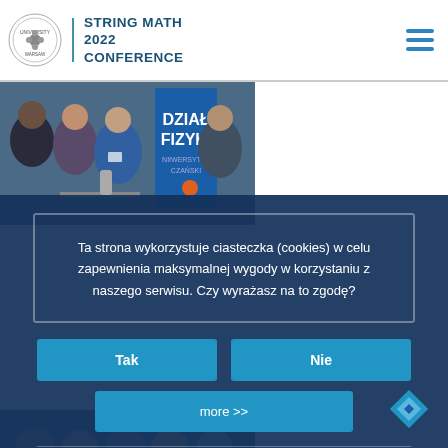STRING MATH 2022 CONFERENCE — University of Warsaw
[Figure (photo): Conference attendees standing and talking near a blue banner reading DZIAŁ FIZYKI, with a thermos/coffee setup on a table]
Ta strona wykorzystuje ciasteczka (cookies) w celu zapewnienia maksymalnej wygody w korzystaniu z naszego serwisu. Czy wyrażasz na to zgodę?
Tak
Nie
more >>
[Figure (photo): Bottom partial view of conference attendees]